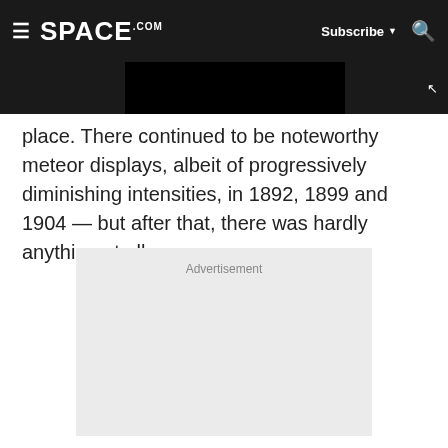SPACE.com | Subscribe | Search
place. There continued to be noteworthy meteor displays, albeit of progressively diminishing intensities, in 1892, 1899 and 1904 — but after that, there was hardly anything at all.
[Figure (other): Advertisement placeholder box with gray background and 'Advertisement' label text]